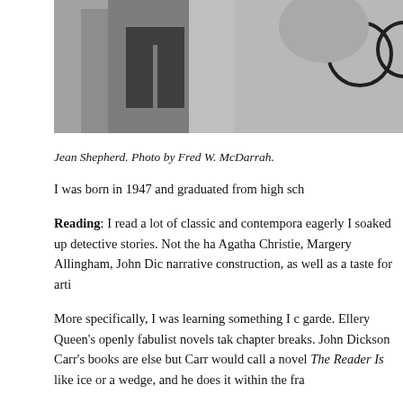[Figure (photo): Black and white photograph of Jean Shepherd, cropped to show torso and partial face, with glasses visible at right edge. Photo by Fred W. McDarrah.]
Jean Shepherd. Photo by Fred W. McDarrah.
I was born in 1947 and graduated from high sch...
Reading: I read a lot of classic and contempora... eagerly I soaked up detective stories. Not the ha... Agatha Christie, Margery Allingham, John Dic... narrative construction, as well as a taste for arti...
More specifically, I was learning something I c... garde. Ellery Queen's openly fabulist novels tak... chapter breaks. John Dickson Carr's books are... else but Carr would call a novel The Reader Is ... like ice or a wedge, and he does it within the fra...